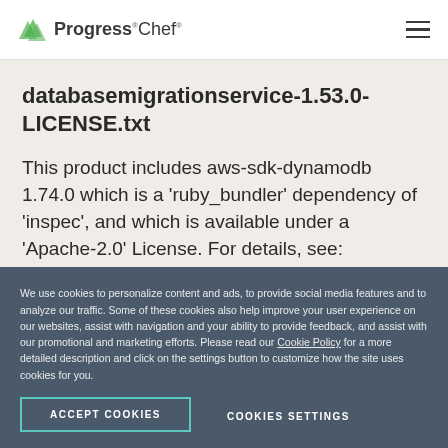Progress Chef
databasemigrationservice-1.53.0-LICENSE.txt
This product includes aws-sdk-dynamodb 1.74.0 which is a 'ruby_bundler' dependency of 'inspec', and which is available under a 'Apache-2.0' License. For details, see: /opt/inspec/LICENSES/ruby_bundler-aws-sdk-
We use cookies to personalize content and ads, to provide social media features and to analyze our traffic. Some of these cookies also help improve your user experience on our websites, assist with navigation and your ability to provide feedback, and assist with our promotional and marketing efforts. Please read our Cookie Policy for a more detailed description and click on the settings button to customize how the site uses cookies for you.
ACCEPT COOKIES
COOKIES SETTINGS